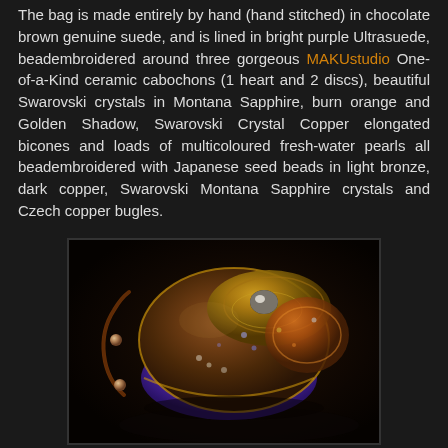The bag is made entirely by hand (hand stitched) in chocolate brown genuine suede, and is lined in bright purple Ultrasuede, beadembroidered around three gorgeous MAKUstudio One-of-a-Kind ceramic cabochons (1 heart and 2 discs), beautiful Swarovski crystals in Montana Sapphire, burn orange and Golden Shadow, Swarovski Crystal Copper elongated bicones and loads of multicoloured fresh-water pearls all beadembroidered with Japanese seed beads in light bronze, dark copper, Swarovski Montana Sapphire crystals and Czech copper bugles.
[Figure (photo): A handmade chocolate brown suede bag with bright purple Ultrasuede lining, decorated with bead embroidery, ceramic cabochons, Swarovski crystals, and a beaded strap with wooden beads, photographed on a dark background.]